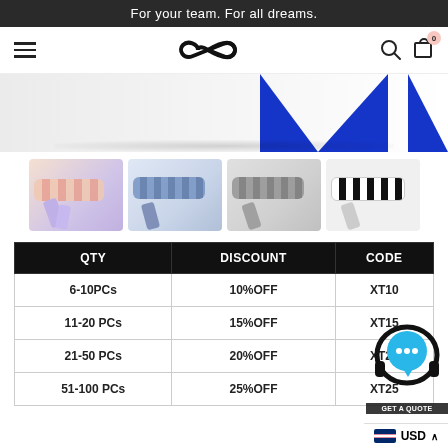For your team. For all dreams.
[Figure (screenshot): Navigation bar with hamburger menu, infinity logo, search and cart icons]
[Figure (photo): Hero banner with blue geometric shapes on light background]
[Figure (photo): Four product thumbnail images of sports headbands: pink checked, blue checked, grey checked, black-white checked]
| QTY | DISCOUNT | CODE |
| --- | --- | --- |
| 6-10PCs | 10%OFF | XT10 |
| 11-20 PCs | 15%OFF | XT15 |
| 21-50 PCs | 20%OFF | XT20 |
| 51-100 PCs | 25%OFF | XT25 |